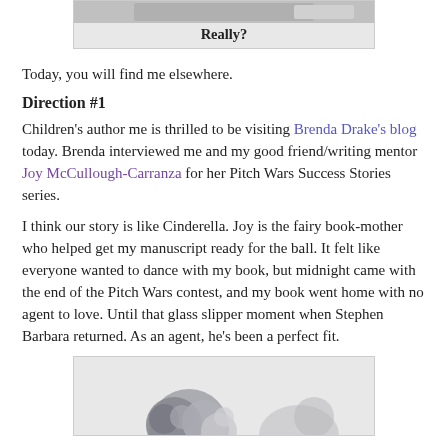[Figure (photo): Top of a photo/image box showing a partial image with caption 'Really?' below it]
Really?
Today, you will find me elsewhere.
Direction #1
Children's author me is thrilled to be visiting Brenda Drake's blog today. Brenda interviewed me and my good friend/writing mentor Joy McCullough-Carranza for her Pitch Wars Success Stories series.
I think our story is like Cinderella. Joy is the fairy book-mother who helped get my manuscript ready for the ball. It felt like everyone wanted to dance with my book, but midnight came with the end of the Pitch Wars contest, and my book went home with no agent to love. Until that glass slipper moment when Stephen Barbara returned. As an agent, he's been a perfect fit.
[Figure (photo): Bottom image showing a Cinderella-themed illustration with circular shapes]